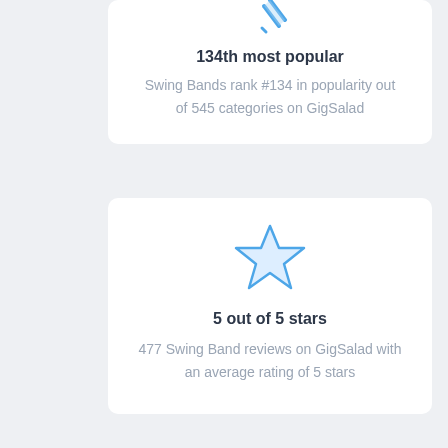[Figure (illustration): Blue pencil/edit icon (partially visible at top of page)]
134th most popular
Swing Bands rank #134 in popularity out of 545 categories on GigSalad
[Figure (illustration): Blue outline star icon]
5 out of 5 stars
477 Swing Band reviews on GigSalad with an average rating of 5 stars